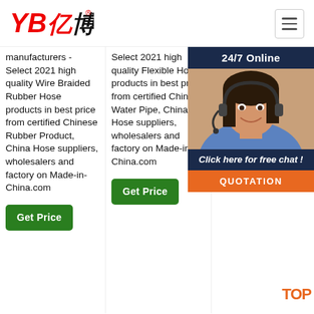[Figure (logo): YB亿博 logo in red italic text with registered trademark symbol]
[Figure (other): Hamburger menu button (three horizontal lines) in top right corner]
manufacturers - Select 2021 high quality Wire Braided Rubber Hose products in best price from certified Chinese Rubber Product, China Hose suppliers, wholesalers and factory on Made-in-China.com
Select 2021 high quality Flexible Hose products in best price from certified Chinese Water Pipe, China Hose suppliers, wholesalers and factory on Made-in-China.com
quality method, good status and exc... ser... of s... pro... com... exp... cou... reg... Rub... Pre... Acid... Che... With Steel Wire, Nbr Food Hose, Water Flexible Pipe, Food Safe Hose Pipe . Standing still today ...
[Figure (photo): Chat agent overlay: 24/7 Online header, photo of smiling woman with headset, Click here for free chat!, QUOTATION button in orange]
Get Price
Get Price
[Figure (other): TOP badge in orange text at bottom right]